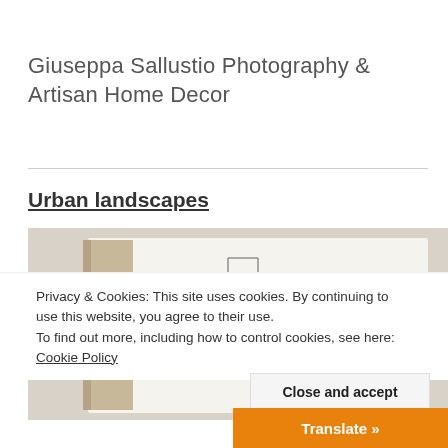Giuseppa Sallustio Photography & Artisan Home Decor
Urban landscapes
[Figure (photo): A sketchbook open showing a pencil drawing of urban building facades and architectural details]
Privacy & Cookies: This site uses cookies. By continuing to use this website, you agree to their use. To find out more, including how to control cookies, see here: Cookie Policy
Close and accept
Translate »